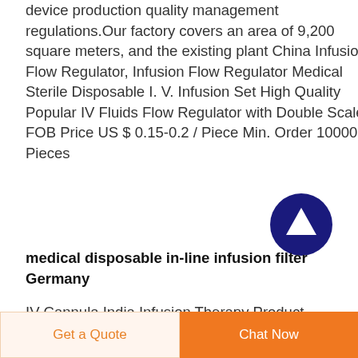device production quality management regulations.Our factory covers an area of 9,200 square meters, and the existing plant China Infusion Flow Regulator, Infusion Flow Regulator Medical Sterile Disposable I. V. Infusion Set High Quality Popular IV Fluids Flow Regulator with Double Scale FOB Price US $ 0.15-0.2 / Piece Min. Order 100000 Pieces
[Figure (other): Dark blue circular button with upward arrow icon (scroll to top)]
medical disposable in-line infusion filter Germany
IV Cannula India Infusion Therapy Product Supplier We
Get a Quote   Chat Now